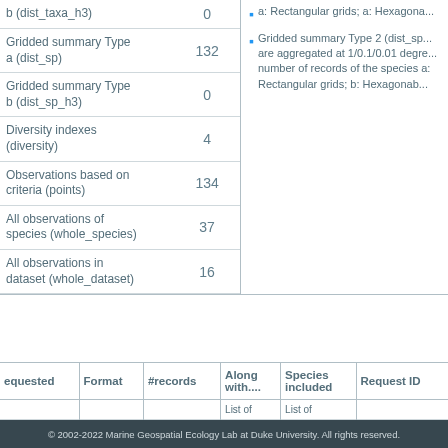|  |  |
| --- | --- |
| b (dist_taxa_h3) | 0 |
| Gridded summary Type a (dist_sp) | 132 |
| Gridded summary Type b (dist_sp_h3) | 0 |
| Diversity indexes (diversity) | 4 |
| Observations based on criteria (points) | 134 |
| All observations of species (whole_species) | 37 |
| All observations in dataset (whole_dataset) | 16 |
Gridded summary Type 2 (dist_sp...) are aggregated at 1/0.1/0.01 degree number of records of the species a: Rectangular grids; b: Hexagonal
| equested | Format | #records | Along with.... | Species included | Request ID |
| --- | --- | --- | --- | --- | --- |
|  |  |  | List of | List of |  |
© 2002-2022 Marine Geospatial Ecology Lab at Duke University. All rights reserved.